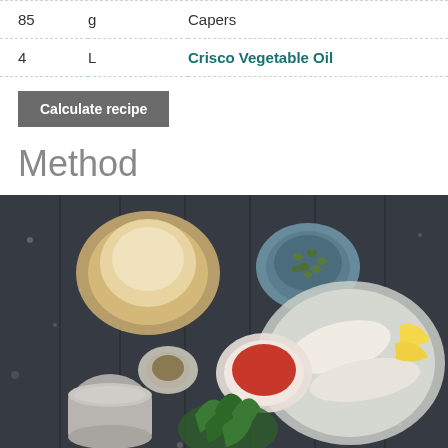| Qty | Unit | Ingredient |
| --- | --- | --- |
| 85 | g | Capers |
| 4 | L | Crisco Vegetable Oil |
Calculate recipe
Method
[Figure (photo): Overhead flat-lay photo on a dark wooden table showing recipe ingredients: a bowl of flour, a blue bowl of capers, a plate with white fish fillets and lemon wedges, a small bowl of red sauce, a small bowl of spices, a cup, and fresh green herbs.]